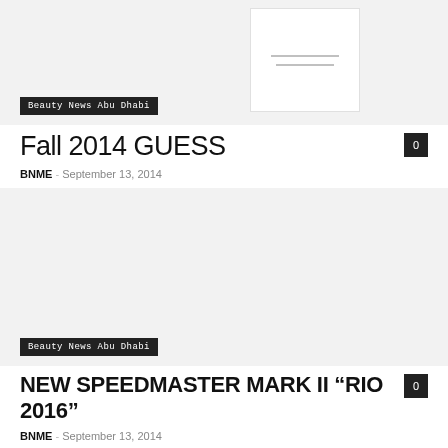[Figure (photo): Article image placeholder with white inner box]
Beauty News Abu Dhabi
Fall 2014 GUESS
BNME – September 13, 2014
[Figure (photo): Large article image placeholder]
Beauty News Abu Dhabi
NEW SPEEDMASTER MARK II "RIO 2016"
BNME – September 13, 2014